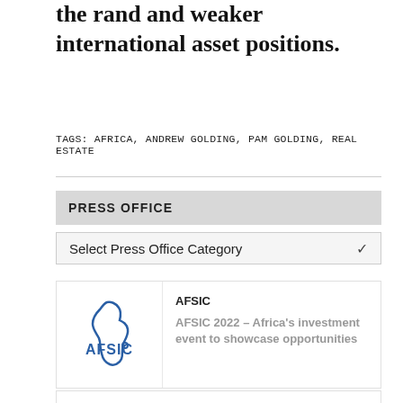the rand and weaker international asset positions.
TAGS: AFRICA, ANDREW GOLDING, PAM GOLDING, REAL ESTATE
PRESS OFFICE
Select Press Office Category
AFSIC
AFSIC 2022 – Africa's investment event to showcase opportunities
Africa CEO Forum
AFRICA CEO FORUM 2022: Abidjan, Côte d'Ivoire